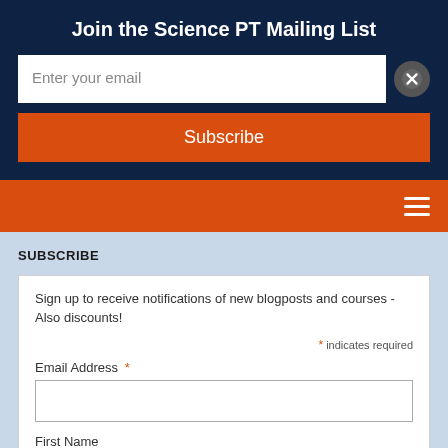Join the Science PT Mailing List
Enter your email
Subscribe
SUBSCRIBE
Sign up to receive notifications of new blogposts and courses - Also discounts!
* indicates required
Email Address *
First Name
Last Name